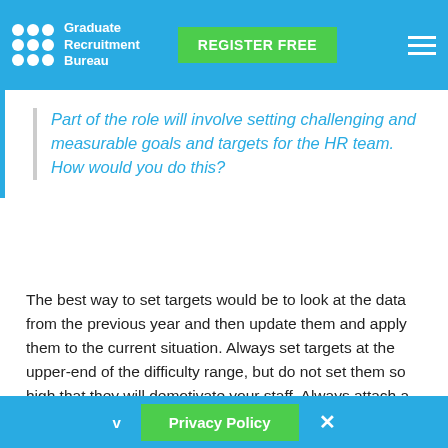Graduate Recruitment Bureau | REGISTER FREE
Part of the role will involve setting challenging and measurable goals and targets for the HR team. How would you do this?
The best way to set targets would be to look at the data from the previous year and then update them and apply them to the current situation. Always set targets at the upper-end of the difficulty range, but do not set them so high that they will demotivate your staff. Always attach a number and a deadline to these targets. Be specific and try to find examples of when you have done this in the past. Acknowledge the importance of incentives in some
v | Privacy Policy | ×